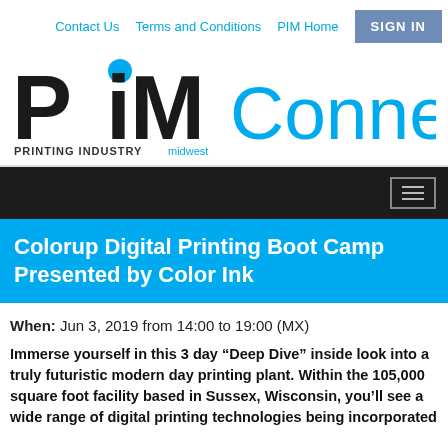Contact Us  Terms and Conditions  PIM Home  SIGN IN
[Figure (logo): PiM Connect - Printing Industry Midwest logo. Bold black 'PiM' with blue circle dot on 'i', followed by cyan 'Connect' text. Tagline: PRINTING INDUSTRY midwest]
Colorup Digital Printing Boot Camp Presented by Color Ink
When:  Jun 3, 2019 from 14:00 to 19:00 (MX)
Immerse yourself in this 3 day “Deep Dive” inside look into a truly futuristic modern day printing plant. Within the 105,000 square foot facility based in Sussex, Wisconsin, you’ll see a wide range of digital printing technologies being incorporated